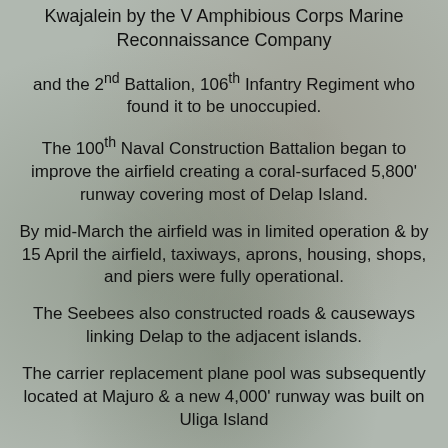Kwajalein by the V Amphibious Corps Marine Reconnaissance Company
and the 2nd Battalion, 106th Infantry Regiment who found it to be unoccupied.
The 100th Naval Construction Battalion began to improve the airfield creating a coral-surfaced 5,800' runway covering most of Delap Island.
By mid-March the airfield was in limited operation & by 15 April the airfield, taxiways, aprons, housing, shops, and piers were fully operational.
The Seebees also constructed roads & causeways linking Delap to the adjacent islands.
The carrier replacement plane pool was subsequently located at Majuro & a new 4,000' runway was built on Uliga Island
and a 2-lane causeway connecting Uliga & Delap was constructed.
An 800' x 150' apron was cleared & paved adjacent to the